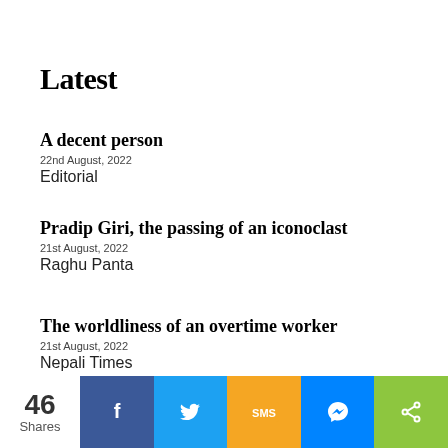Latest
A decent person
22nd August, 2022
Editorial
Pradip Giri, the passing of an iconoclast
21st August, 2022
Raghu Panta
The worldliness of an overtime worker
21st August, 2022
Nepali Times
Advertisement
46 Shares